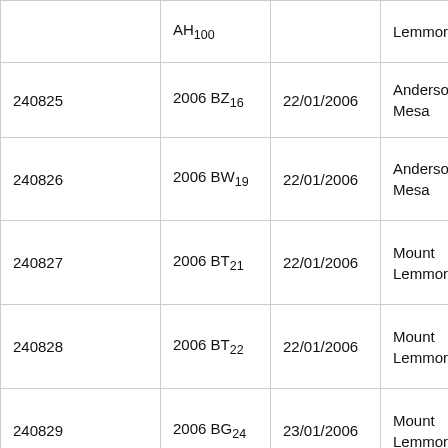|  | AH₁₀₀ |  | Lemmon |
| 240825 | 2006 BZ₁₆ | 22/01/2006 | Anderson Mesa |
| 240826 | 2006 BW₁₉ | 22/01/2006 | Anderson Mesa |
| 240827 | 2006 BT₂₁ | 22/01/2006 | Mount Lemmon |
| 240828 | 2006 BT₂₂ | 22/01/2006 | Mount Lemmon |
| 240829 | 2006 BG₂₄ | 23/01/2006 | Mount Lemmon |
| 240830 | 2006 BD₂₆ | 22/01/2006 | Anderson |